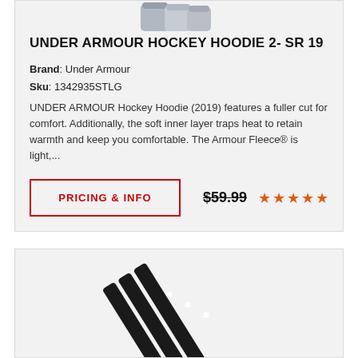[Figure (photo): Partial view of gray hockey hoodie images at top of card]
UNDER ARMOUR HOCKEY HOODIE 2- SR 19
Brand: Under Armour
Sku: 1342935STLG
UNDER ARMOUR Hockey Hoodie (2019) features a fuller cut for comfort. Additionally, the soft inner layer traps heat to retain warmth and keep you comfortable. The Armour Fleece® is light,...
PRICING & INFO   $59.99  ★★★★★
[Figure (photo): Black hockey sticks with Under Armour logo visible, partially shown at bottom of page]